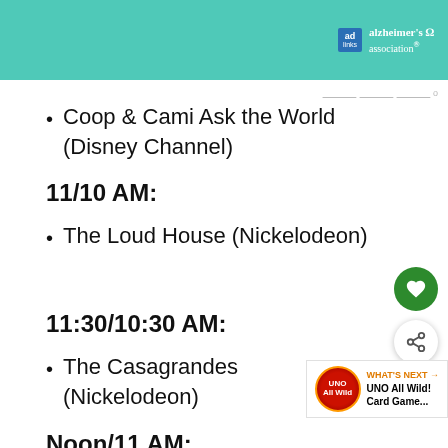[Figure (illustration): Advertisement banner with teal background showing an illustrated person and Alzheimer's Association logo with 'ad' badge]
Coop & Cami Ask the World (Disney Channel)
11/10 AM:
The Loud House (Nickelodeon)
11:30/10:30 AM:
The Casagrandes (Nickelodeon)
Noon/11 AM: